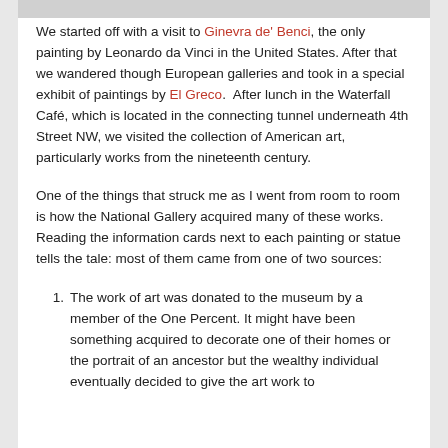[Figure (other): Gray image bar at the top of the page]
We started off with a visit to Ginevra de' Benci, the only painting by Leonardo da Vinci in the United States. After that we wandered though European galleries and took in a special exhibit of paintings by El Greco.  After lunch in the Waterfall Café, which is located in the connecting tunnel underneath 4th Street NW, we visited the collection of American art, particularly works from the nineteenth century.
One of the things that struck me as I went from room to room is how the National Gallery acquired many of these works. Reading the information cards next to each painting or statue tells the tale: most of them came from one of two sources:
The work of art was donated to the museum by a member of the One Percent. It might have been something acquired to decorate one of their homes or the portrait of an ancestor but the wealthy individual eventually decided to give the art work to